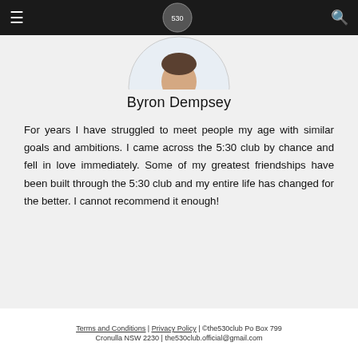Navigation bar with hamburger menu, logo, and search icon
[Figure (photo): Circular profile photo of Byron Dempsey showing top portion of a person in a floral/dotted blue and white shirt, partially cropped at top of content area]
Byron Dempsey
For years I have struggled to meet people my age with similar goals and ambitions. I came across the 5:30 club by chance and fell in love immediately. Some of my greatest friendships have been built through the 5:30 club and my entire life has changed for the better. I cannot recommend it enough!
Terms and Conditions | Privacy Policy | ©the530club Po Box 799 Cronulla NSW 2230 | the530club.official@gmail.com